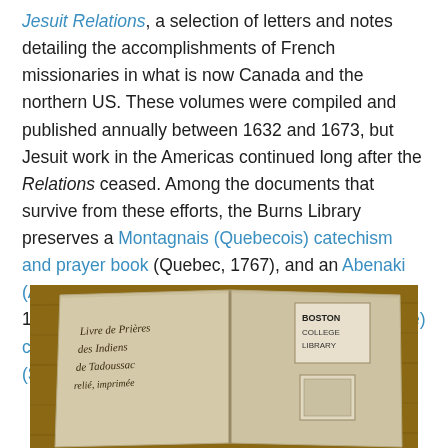Jesuit Relations, a selection of letters and notes detailing the accomplishments of French missionaries in what is now Canada and the northern US. These volumes were compiled and published annually between 1632 and 1673, but Jesuit work in the Americas continued long after the Relations ceased. Among the documents that survive from these efforts, the Burns Library preserves a Montagnais (Quebecois) catechism and prayer book (Quebec, 1767), and an Abenaki (Algonquin) prayer book and catechism (New York, 1857), as well as a later Potawatomi (Pottawatomie) catechism (Cincinnati, 1868), and a Kalispel (Salish) catechism (Montana, 1880).
[Figure (photo): Open antique book showing handwritten text 'Livre de Prières des Indiens de Tadoussac relié, imprimé' on left page and a stamped/printed label on the right page, resting on a wooden surface.]